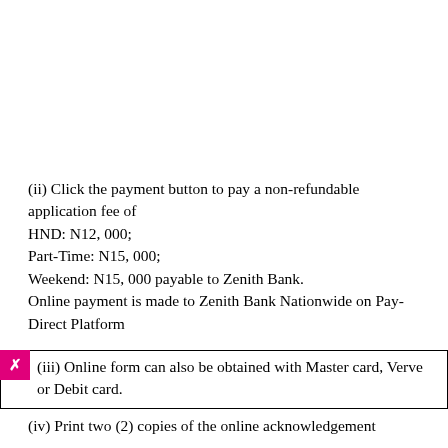(ii) Click the payment button to pay a non-refundable application fee of
HND: N12, 000;
Part-Time: N15, 000;
Weekend: N15, 000 payable to Zenith Bank.
Online payment is made to Zenith Bank Nationwide on Pay-Direct Platform
(iii) Online form can also be obtained with Master card, Verve or Debit card.
(iv) Print two (2) copies of the online acknowledgement